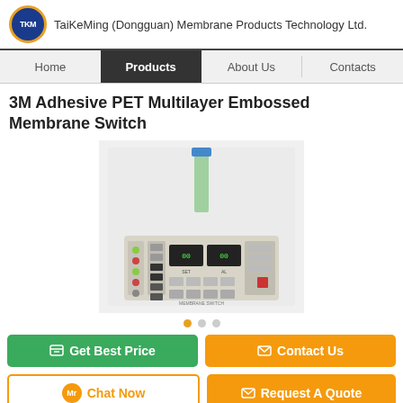TaiKeMing (Dongguan) Membrane Products Technology Ltd.
3M Adhesive PET Multilayer Embossed Membrane Switch
[Figure (photo): Photo of a membrane switch panel with buttons, two display windows, and a green flexible cable connector on white background]
Get Best Price | Contact Us | Chat Now | Request A Quote